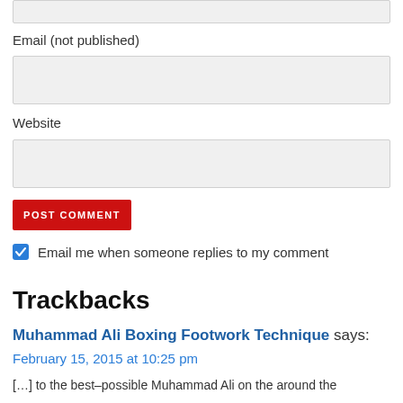Email (not published)
Website
POST COMMENT
Email me when someone replies to my comment
Trackbacks
Muhammad Ali Boxing Footwork Technique says:
February 15, 2015 at 10:25 pm
[…] to the best–possible Muhammad Ali on the around the…